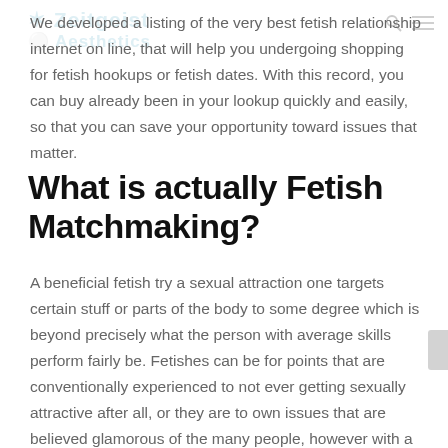Zeitgeist Aesthetics
We developed a listing of the very best fetish relationship internet on line, that will help you undergoing shopping for fetish hookups or fetish dates. With this record, you can buy already been in your lookup quickly and easily, so that you can save your opportunity toward issues that matter.
What is actually Fetish Matchmaking?
A beneficial fetish try a sexual attraction one targets certain stuff or parts of the body to some degree which is beyond precisely what the person with average skills perform fairly be. Fetishes can be for points that are conventionally experienced to not ever getting sexually attractive after all, or they are to own issues that are believed glamorous of the many people, however with a significantly healthier level of attraction than is actually “normal”.